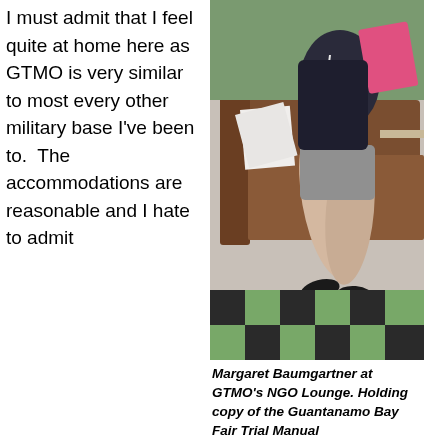I must admit that I feel quite at home here as GTMO is very similar to most every other military base I've been to. The accommodations are reasonable and I hate to admit
[Figure (photo): Margaret Baumgartner seated at GTMO's NGO Lounge, holding a pink copy of the Guantanamo Bay Fair Trial Manual, on a checkered green and black tile floor.]
Margaret Baumgartner at GTMO's NGO Lounge. Holding copy of the Guantanamo Bay Fair Trial Manual